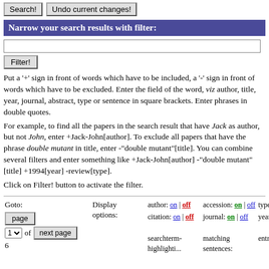Search! | Undo current changes!
Narrow your search results with filter:
Put a '+' sign in front of words which have to be included, a '-' sign in front of words which have to be excluded. Enter the field of the word, viz author, title, year, journal, abstract, type or sentence in square brackets. Enter phrases in double quotes.
For example, to find all the papers in the search result that have Jack as author, but not John, enter +Jack-John[author]. To exclude all papers that have the phrase double mutant in title, enter -"double mutant"[title]. You can combine several filters and enter something like +Jack-John[author] -"double mutant"[title] +1994[year] -review[type].
Click on Filter! button to activate the filter.
Goto: Display options: author: on | off accession: on | off type: on | off abstract: on | off citation: on | off journal: on | off year: on | off supplement: on | off searchterm-highlighting: matching sentences: entries/page: